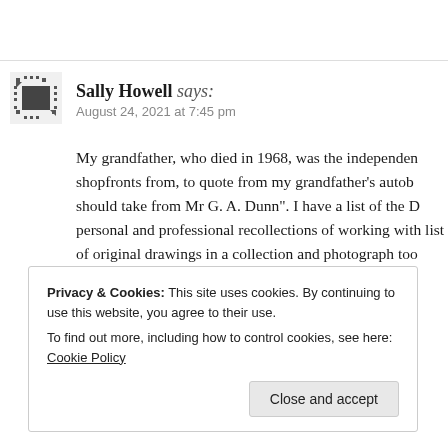[Figure (illustration): Small pixelated avatar icon for Sally Howell]
Sally Howell says:
August 24, 2021 at 7:45 pm
My grandfather, who died in 1968, was the independent shopfronts from, to quote from my grandfather's autob... should take from Mr G. A. Dunn". I have a list of the D... personal and professional recollections of working with... list of original drawings in a collection and photograph... too much information to include here so is there a way
★ Liked by 1 person
Privacy & Cookies: This site uses cookies. By continuing to use this website, you agree to their use.
To find out more, including how to control cookies, see here: Cookie Policy
Close and accept